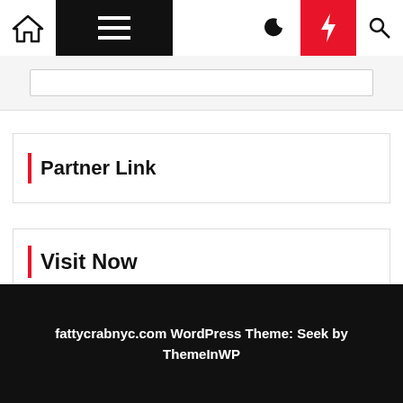Navigation bar with home icon, menu, moon, bolt, search icons
[Figure (screenshot): Search input box area]
| Partner Link
| Visit Now
Health
fattycrabnyc.com WordPress Theme: Seek by ThemeInWP